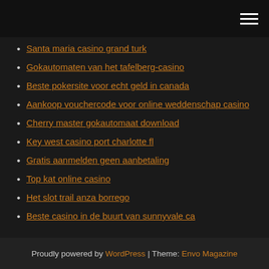Santa maria casino grand turk
Gokautomaten van het tafelberg-casino
Beste pokersite voor echt geld in canada
Aankoop vouchercode voor online weddenschap casino
Cherry master gokautomaat download
Key west casino port charlotte fl
Gratis aanmelden geen aanbetaling
Top kat online casino
Het slot trail anza borrego
Beste casino in de buurt van sunnyvale ca
Proudly powered by WordPress | Theme: Envo Magazine